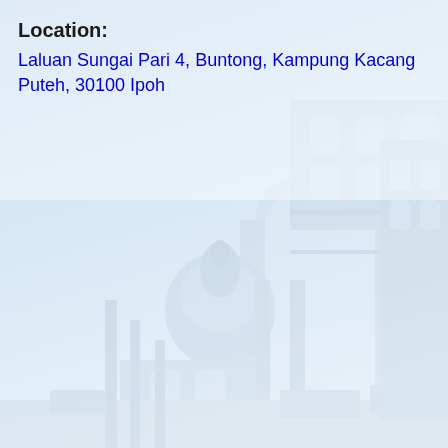[Figure (photo): Faded background photograph of a historic colonial-style building in Ipoh, Malaysia, showing architectural arches and a dome, viewed from a low angle against a light blue sky. The image is very faint/washed out serving as a watermark-like background.]
Location:
Laluan Sungai Pari 4, Buntong, Kampung Kacang Puteh, 30100 Ipoh